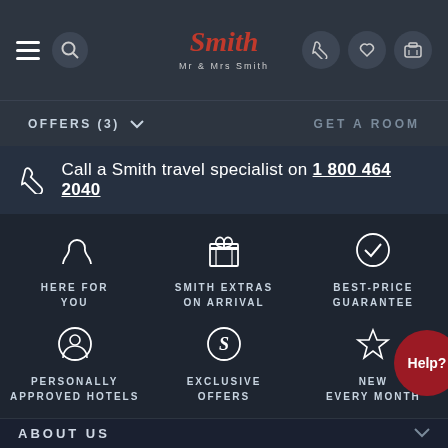Mr & Mrs Smith
OFFERS (3)
GET A ROOM
Call a Smith travel specialist on 1 800 464 2040
HERE FOR YOU
SMITH EXTRAS ON ARRIVAL
BEST-PRICE GUARANTEE
PERSONALLY APPROVED HOTELS
EXCLUSIVE OFFERS
NEW EVERY MONTH
ABOUT US